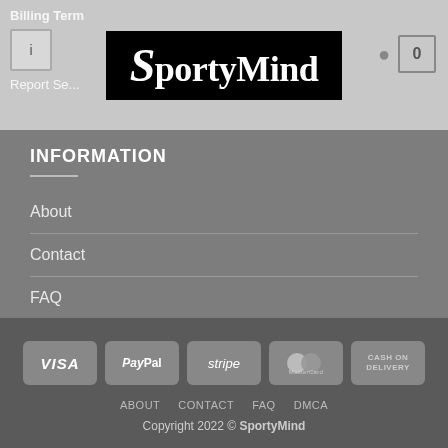SportyMind — site header with logo, billing term, report selector, and cart
INFORMATION
About
Contact
FAQ
DMCA
VISA | PayPal | stripe | MasterCard | CASH ON DELIVERY — ABOUT CONTACT FAQ DMCA — Copyright 2022 © SportyMind